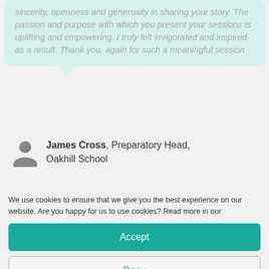sincerity, openness and generosity in sharing your story. The passion and purpose with which you present your sessions is uplifting and empowering. I truly felt invigorated and inspired as a result. Thank you, again for such a meaningful session
James Cross, Preparatory Head, Oakhill School
We use cookies to ensure that we give you the best experience on our website. Are you happy for us to use cookies? Read more in our
Accept
Deny